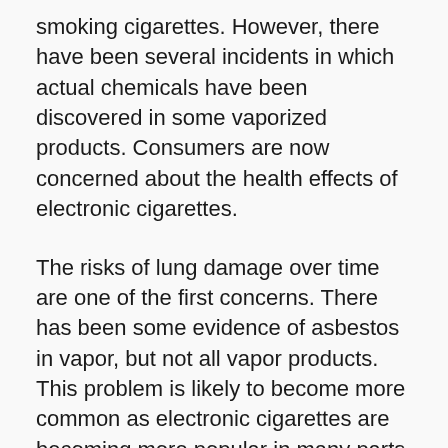smoking cigarettes. However, there have been several incidents in which actual chemicals have been discovered in some vaporized products. Consumers are now concerned about the health effects of electronic cigarettes.
The risks of lung damage over time are one of the first concerns. There has been some evidence of asbestos in vapor, but not all vapor products. This problem is likely to become more common as electronic cigarettes are becoming more popular in many parts the world.
Vaping is closely linked to quitting smoking because it eliminates the need for smokers to take a specific medication. Smokers have to take many different medications to quit including nicotine replacement therapies (like the patch) and Zyban (the pill). To quit